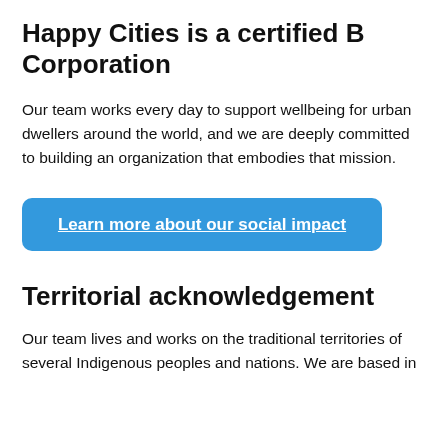Happy Cities is a certified B Corporation
Our team works every day to support wellbeing for urban dwellers around the world, and we are deeply committed to building an organization that embodies that mission.
Learn more about our social impact
Territorial acknowledgement
Our team lives and works on the traditional territories of several Indigenous peoples and nations. We are based in